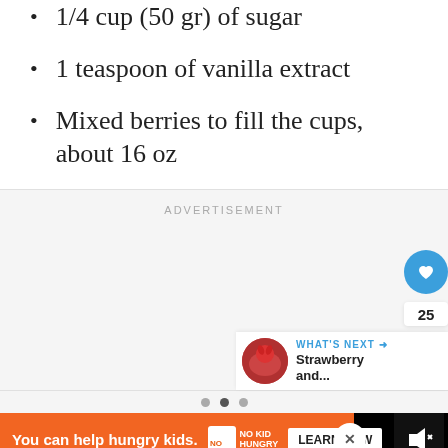1/4 cup (50 gr) of sugar
1 teaspoon of vanilla extract
Mixed berries to fill the cups, about 16 oz
[Figure (screenshot): Advertisement placeholder box with ADVERTISEMENT label, social interaction buttons (heart with count 25, share button), and a 'WHAT'S NEXT' panel showing Strawberry and... with a thumbnail image, and three pagination dots at the bottom.]
[Figure (infographic): Bottom ad banner: black background with orange No Kid Hungry ad. Text: 'You can help hungry kids.' with No Kid Hungry logo and LEARN HOW button. Close X button visible. Mute/sound icon on far right.]